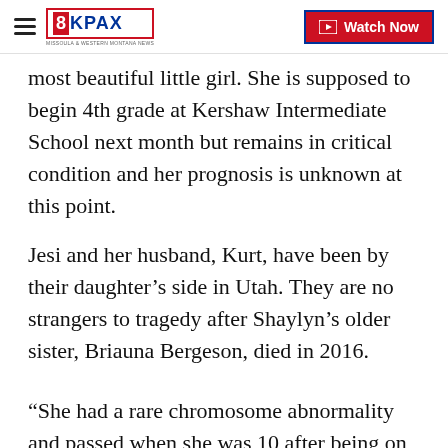8KPAX — Watch Now
most beautiful little girl. She is supposed to begin 4th grade at Kershaw Intermediate School next month but remains in critical condition and her prognosis is unknown at this point.
Jesi and her husband, Kurt, have been by their daughter's side in Utah. They are no strangers to tragedy after Shaylyn's older sister, Briauna Bergeson, died in 2016.
“She had a rare chromosome abnormality and passed when she was 10 after being on hospice for three years,” Jesi says. “We are not doing good right now. We lost her older sister just four years ago and the